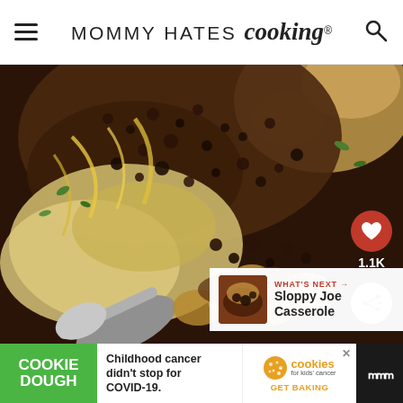MOMMY HATES cooking®
[Figure (photo): Close-up photo of a casserole dish with ground beef tater tot casserole, topped with melted cheddar cheese and green herbs, being scooped with a spoon]
1.1K
WHAT'S NEXT → Sloppy Joe Casserole
[Figure (photo): Small thumbnail of Sloppy Joe Casserole]
COOKIE DOUGH   Childhood cancer didn't stop for COVID-19.   cookies for kids' cancer   GET BAKING